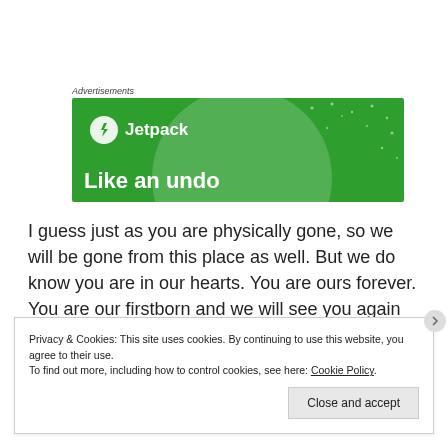Advertisements
[Figure (screenshot): Jetpack advertisement banner on a green background with a large translucent circle and small dots pattern. Shows the Jetpack logo (lightning bolt in circle) and text 'Jetpack' at top left, with partial tagline 'Like an undo' at the bottom.]
I guess just as you are physically gone, so we will be gone from this place as well. But we do know you are in our hearts. You are ours forever. You are our firstborn and we will see you again someday.
Privacy & Cookies: This site uses cookies. By continuing to use this website, you agree to their use.
To find out more, including how to control cookies, see here: Cookie Policy

Close and accept